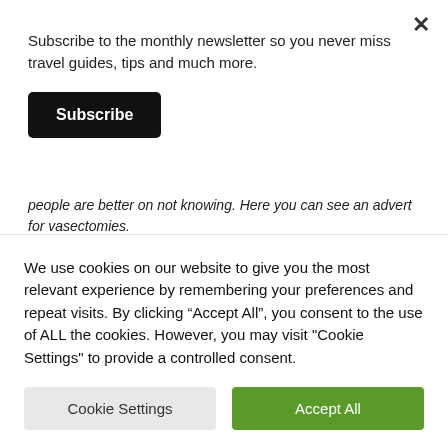Subscribe to the monthly newsletter so you never miss travel guides, tips and much more.
Subscribe
people are better on not knowing. Here you can see an advert for vasectomies.
Goa’s cuisine and coastline complement
We use cookies on our website to give you the most relevant experience by remembering your preferences and repeat visits. By clicking “Accept All”, you consent to the use of ALL the cookies. However, you may visit "Cookie Settings" to provide a controlled consent.
Cookie Settings
Accept All